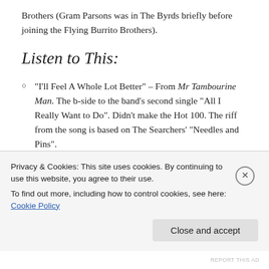Brothers (Gram Parsons was in The Byrds briefly before joining the Flying Burrito Brothers).
Listen to This:
“I’ll Feel A Whole Lot Better” – From Mr Tambourine Man. The b-side to the band’s second single “All I Really Want to Do”. Didn’t make the Hot 100. The riff from the song is based on The Searchers’ “Needles and Pins”.
“Chimes of Freedom” – From Mr Tambourine Man.
Privacy & Cookies: This site uses cookies. By continuing to use this website, you agree to their use.
To find out more, including how to control cookies, see here: Cookie Policy